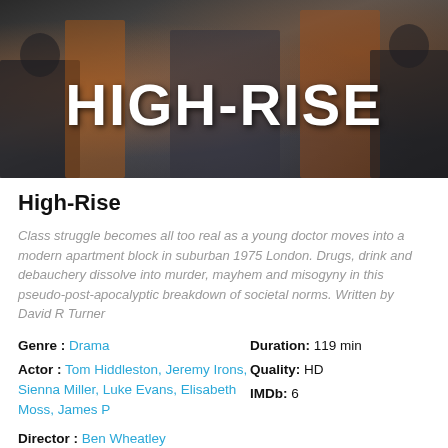[Figure (photo): Movie banner image for High-Rise with dark cinematic background, characters in suits, orange accents, and large white bold 'HIGH-RISE' title text overlay]
High-Rise
Class struggle becomes all too real as a young doctor moves into a modern apartment block in suburban 1975 London. Drugs, drink and debauchery dissolve into murder, mayhem and misogyny in this pseudo-post-apocalyptic breakdown of societal norms. Written by David R Turner
Genre : Drama
Duration: 119 min
Actor : Tom Hiddleston, Jeremy Irons, Sienna Miller, Luke Evans, Elisabeth Moss, James P
Quality: HD
IMDb: 6
Director : Ben Wheatley
Country : UK | Belgium